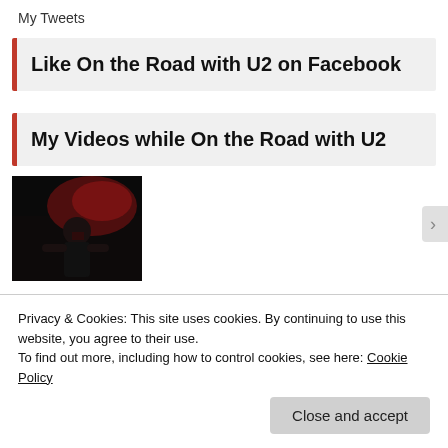My Tweets
Like On the Road with U2 on Facebook
My Videos while On the Road with U2
[Figure (photo): Dark concert photo showing a person under red lighting]
Privacy & Cookies: This site uses cookies. By continuing to use this website, you agree to their use.
To find out more, including how to control cookies, see here: Cookie Policy
Close and accept